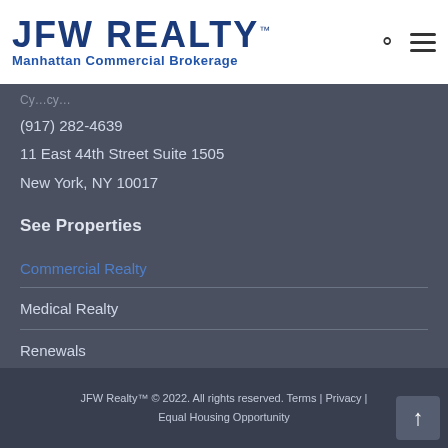[Figure (logo): JFW Realty Manhattan Commercial Brokerage logo with search and menu icons]
(917) 282-4639
11 East 44th Street Suite 1505
New York, NY 10017
See Properties
Commercial Realty
Medical Realty
Renewals
JFW Realty™ © 2022. All rights reserved. Terms | Privacy | Equal Housing Opportunity